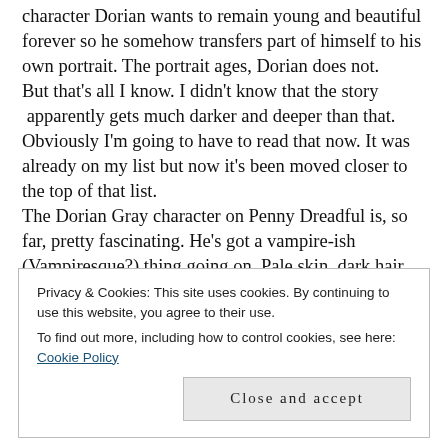character Dorian wants to remain young and beautiful forever so he somehow transfers part of himself to his own portrait. The portrait ages, Dorian does not. But that's all I know. I didn't know that the story apparently gets much darker and deeper than that. Obviously I'm going to have to read that now. It was already on my list but now it's been moved closer to the top of that list. The Dorian Gray character on Penny Dreadful is, so far, pretty fascinating. He's got a vampire-ish (Vampiresque?) thing going on. Pale skin, dark hair
Privacy & Cookies: This site uses cookies. By continuing to use this website, you agree to their use.
To find out more, including how to control cookies, see here: Cookie Policy
Close and accept